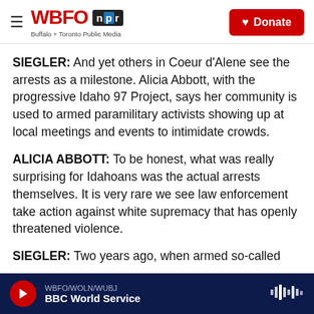WBFO NPR — Buffalo + Toronto Public Media | Donate
SIEGLER: And yet others in Coeur d'Alene see the arrests as a milestone. Alicia Abbott, with the progressive Idaho 97 Project, says her community is used to armed paramilitary activists showing up at local meetings and events to intimidate crowds.
ALICIA ABBOTT: To be honest, what was really surprising for Idahoans was the actual arrests themselves. It is very rare we see law enforcement take action against white supremacy that has openly threatened violence.
SIEGLER: Two years ago, when armed so-called
WBFO/WOLN/WUBJ — BBC World Service